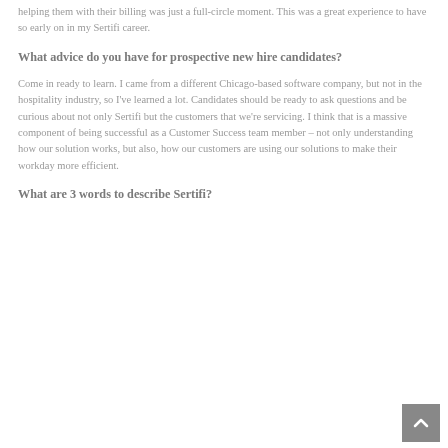helping them with their billing was just a full-circle moment. This was a great experience to have so early on in my Sertifi career.
What advice do you have for prospective new hire candidates?
Come in ready to learn. I came from a different Chicago-based software company, but not in the hospitality industry, so I've learned a lot. Candidates should be ready to ask questions and be curious about not only Sertifi but the customers that we're servicing. I think that is a massive component of being successful as a Customer Success team member – not only understanding how our solution works, but also, how our customers are using our solutions to make their workday more efficient.
What are 3 words to describe Sertifi?